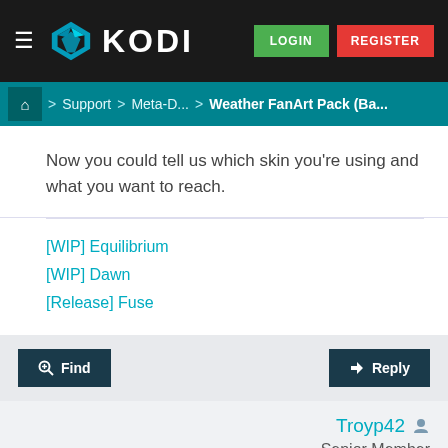KODI | LOGIN | REGISTER
Home > Support > Meta-D... > Weather FanArt Pack (Ba...
Now you could tell us which skin you're using and what you want to reach.
[WIP] Equilibrium
[WIP] Dawn
[Release] Fuse
Find | Reply
Troyp42
Senior Member
Posts: 202